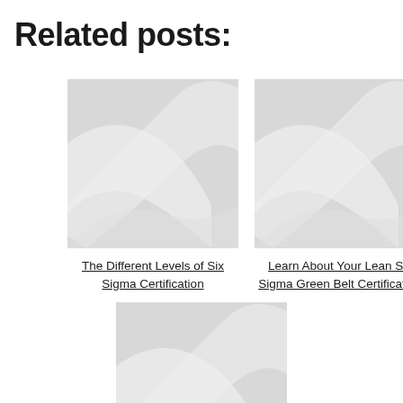Related posts:
[Figure (illustration): Placeholder image with grey swoosh/wave pattern for 'The Different Levels of Six Sigma Certification' post]
The Different Levels of Six Sigma Certification
[Figure (illustration): Placeholder image with grey swoosh/wave pattern for 'Learn About Your Lean Six Sigma Green Belt Certification' post]
Learn About Your Lean Six Sigma Green Belt Certification
[Figure (illustration): Placeholder image with grey swoosh/wave pattern for a third related post]